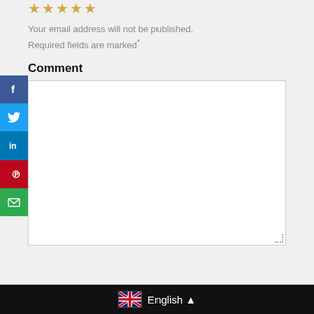[Figure (other): Five gold/orange star rating icons at top]
Your email address will not be published. Required fields are marked*
Comment
[Figure (other): Comment text input box (empty textarea with resize handle)]
[Figure (other): Social sharing sidebar with Facebook (f), Twitter (bird), LinkedIn (in), Pinterest (p), Email (envelope) buttons]
English ▲